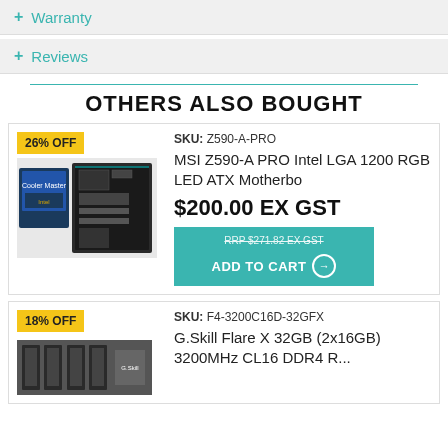Warranty
Reviews
OTHERS ALSO BOUGHT
SKU: Z590-A-PRO
MSI Z590-A PRO Intel LGA 1200 RGB LED ATX Motherbo
$200.00 EX GST
RRP $271.82 EX GST ADD TO CART
SKU: F4-3200C16D-32GFX
G.Skill Flare X 32GB (2x16GB) 3200MHz CL16 DDR4 R...